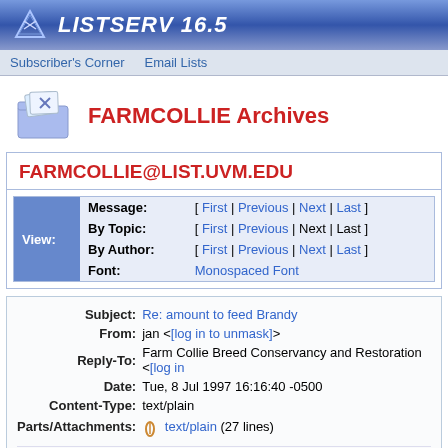LISTSERV 16.5
Subscriber's Corner  Email Lists
FARMCOLLIE Archives
FARMCOLLIE@LIST.UVM.EDU
| View: | Field | Links |
| --- | --- | --- |
|  | Message: | [ First | Previous | Next | Last ] |
|  | By Topic: | [ First | Previous | Next | Last ] |
|  | By Author: | [ First | Previous | Next | Last ] |
|  | Font: | Monospaced Font |
| Field | Value |
| --- | --- |
| Subject: | Re: amount to feed Brandy |
| From: | jan <[log in to unmask]> |
| Reply-To: | Farm Collie Breed Conservancy and Restoration <[log in to unmask]> |
| Date: | Tue, 8 Jul 1997 16:16:40 -0500 |
| Content-Type: | text/plain |
| Parts/Attachments: | text/plain (27 lines) |
At 3:40 PM -0400 7/8/97, Marci Sudlow wrote: